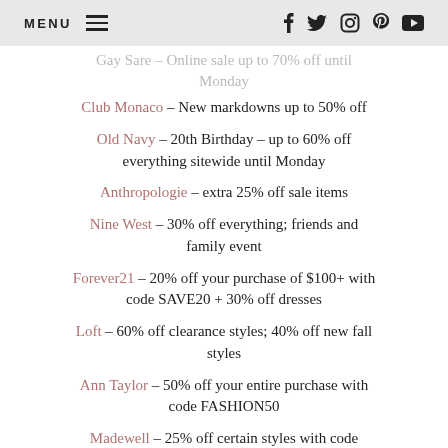MENU [hamburger] [facebook] [twitter] [instagram] [pinterest] [youtube]
[partial] – Online sale up to 70% off until Monday
Club Monaco – New markdowns up to 50% off
Old Navy – 20th Birthday – up to 60% off everything sitewide until Monday
Anthropologie – extra 25% off sale items
Nine West – 30% off everything; friends and family event
Forever21 – 20% off your purchase of $100+ with code SAVE20 + 30% off dresses
Loft – 60% off clearance styles; 40% off new fall styles
Ann Taylor – 50% off your entire purchase with code FASHION50
Madewell – 25% off certain styles with code CARPEDIEM; 48 hours only